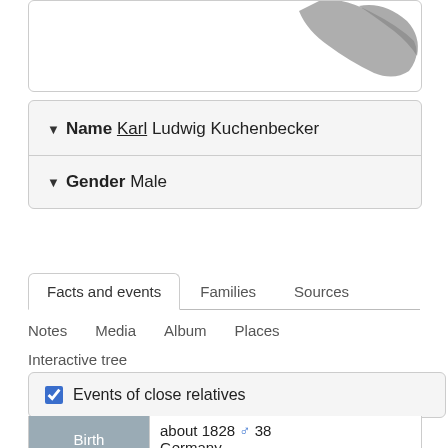[Figure (map): Partial map shape visible in upper right corner of a bordered box]
▼ Name Karl Ludwig Kuchenbecker
▼ Gender Male
Facts and events   Families   Sources
Notes   Media   Album   Places
Interactive tree
Events of close relatives
| Birth |  |
| --- | --- |
| Birth | about 1828 ♂ 38
Germany |